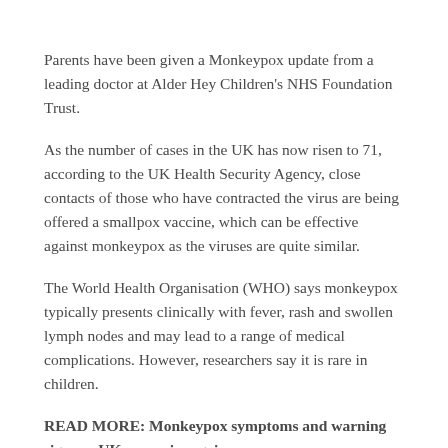Parents have been given a Monkeypox update from a leading doctor at Alder Hey Children's NHS Foundation Trust.
As the number of cases in the UK has now risen to 71, according to the UK Health Security Agency, close contacts of those who have contracted the virus are being offered a smallpox vaccine, which can be effective against monkeypox as the viruses are quite similar.
The World Health Organisation (WHO) says monkeypox typically presents clinically with fever, rash and swollen lymph nodes and may lead to a range of medical complications. However, researchers say it is rare in children.
READ MORE: Monkeypox symptoms and warning signs as UK cases rise again
Dr David Porter, paediatric infectious diseases consultant, Alder Hey Children's NHS Foundation Trust, said: “As a parent with a child that might develop a rash, I don’t think